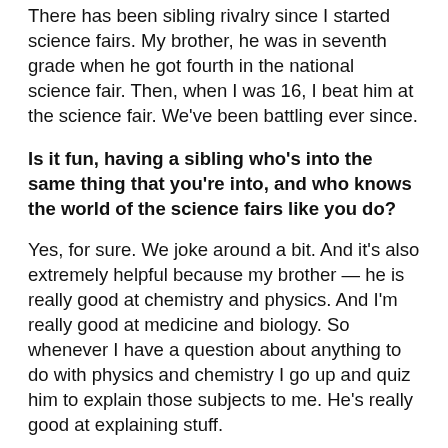There has been sibling rivalry since I started science fairs. My brother, he was in seventh grade when he got fourth in the national science fair. Then, when I was 16, I beat him at the science fair. We've been battling ever since.
Is it fun, having a sibling who's into the same thing that you're into, and who knows the world of the science fairs like you do?
Yes, for sure. We joke around a bit. And it's also extremely helpful because my brother — he is really good at chemistry and physics. And I'm really good at medicine and biology. So whenever I have a question about anything to do with physics and chemistry I go up and quiz him to explain those subjects to me. He's really good at explaining stuff.
Does your brother have any patents at this